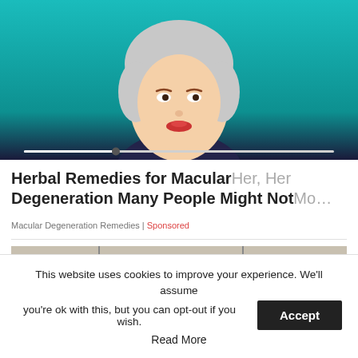[Figure (illustration): Illustrated woman figure with grey hair, red lips, teal background and dark clothing. Media slider bar at bottom of image.]
Herbal Remedies for Macular Degeneration Many People Might Not Mo...
Macular Degeneration Remedies | Sponsored
[Figure (photo): Photograph of a large parking lot filled with many dust-covered vehicles packed closely together.]
This website uses cookies to improve your experience. We'll assume you're ok with this, but you can opt-out if you wish. Accept Read More